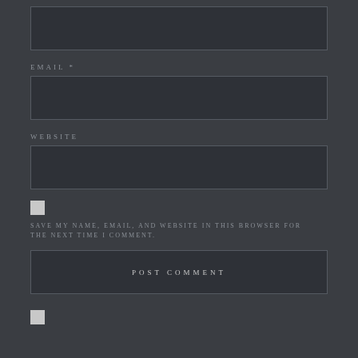[Figure (screenshot): Empty dark input text box at the top of the page, no label visible]
EMAIL *
[Figure (screenshot): Empty dark input text box for email field]
WEBSITE
[Figure (screenshot): Empty dark input text box for website field]
SAVE MY NAME, EMAIL, AND WEBSITE IN THIS BROWSER FOR THE NEXT TIME I COMMENT.
[Figure (screenshot): POST COMMENT button, dark background with centered uppercase text]